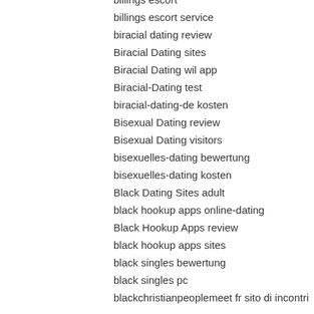billings escort
billings escort service
biracial dating review
Biracial Dating sites
Biracial Dating wil app
Biracial-Dating test
biracial-dating-de kosten
Bisexual Dating review
Bisexual Dating visitors
bisexuelles-dating bewertung
bisexuelles-dating kosten
Black Dating Sites adult
black hookup apps online-dating
Black Hookup Apps review
black hookup apps sites
black singles bewertung
black singles pc
blackchristianpeoplemeet fr sito di incontri